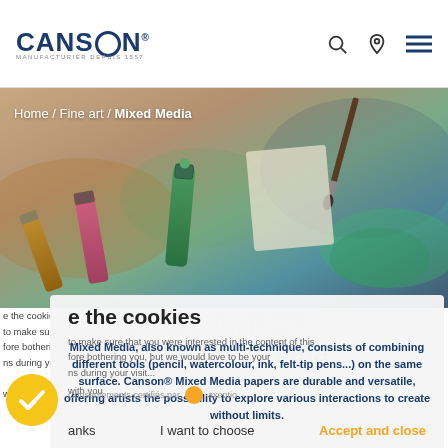[Figure (logo): Canson brand logo with registered trademark symbol and 'Manufacturier depuis 1557' tagline]
[Figure (photo): Hero background photo showing art supplies including paint tubes, colored pencils, and brushes on a work surface]
Home / Fine art / Mixed Media
Mixed Media
Mixed Media, also known as multi-technique, consists of combining different tools (pencil, watercolour, ink, felt-tip pens...) on the same surface. Canson® Mixed Media papers are durable and versatile, offering artists the possibility to explore various interactions to create without limits.
the cookies
to make sure that you were interested in the content of this
fore bothering you, but we would love to be your
ns during your visit...
with you
Consentements certifiés par   axeptio
anks   I want to choose   Accept and close